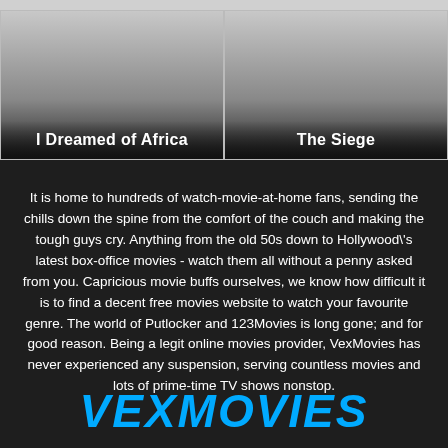[Figure (illustration): Movie card thumbnail for 'I Dreamed of Africa' with gradient background from gray to black, white bold title at bottom]
[Figure (illustration): Movie card thumbnail for 'The Siege' with gradient background from gray to black, white bold title at bottom]
It is home to hundreds of watch-movie-at-home fans, sending the chills down the spine from the comfort of the couch and making the tough guys cry. Anything from the old 50s down to Hollywood\'s latest box-office movies - watch them all without a penny asked from you. Capricious movie buffs ourselves, we know how difficult it is to find a decent free movies website to watch your favourite genre. The world of Putlocker and 123Movies is long gone; and for good reason. Being a legit online movies provider, VexMovies has never experienced any suspension, serving countless movies and lots of prime-time TV shows nonstop.
VEXMOVIES